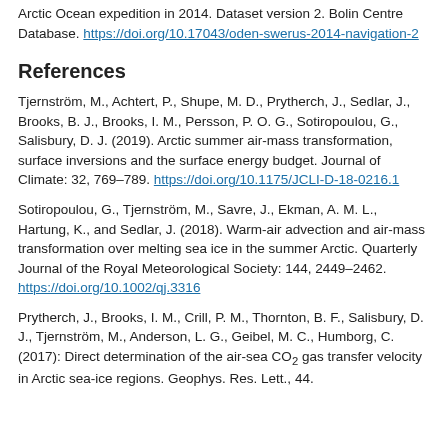Arctic Ocean expedition in 2014. Dataset version 2. Bolin Centre Database. https://doi.org/10.17043/oden-swerus-2014-navigation-2
References
Tjernström, M., Achtert, P., Shupe, M. D., Prytherch, J., Sedlar, J., Brooks, B. J., Brooks, I. M., Persson, P. O. G., Sotiropoulou, G., Salisbury, D. J. (2019). Arctic summer air-mass transformation, surface inversions and the surface energy budget. Journal of Climate: 32, 769–789. https://doi.org/10.1175/JCLI-D-18-0216.1
Sotiropoulou, G., Tjernström, M., Savre, J., Ekman, A. M. L., Hartung, K., and Sedlar, J. (2018). Warm-air advection and air-mass transformation over melting sea ice in the summer Arctic. Quarterly Journal of the Royal Meteorological Society: 144, 2449–2462. https://doi.org/10.1002/qj.3316
Prytherch, J., Brooks, I. M., Crill, P. M., Thornton, B. F., Salisbury, D. J., Tjernström, M., Anderson, L. G., Geibel, M. C., Humborg, C. (2017): Direct determination of the air-sea CO2 gas transfer velocity in Arctic sea-ice regions. Geophys. Res. Lett., 44.